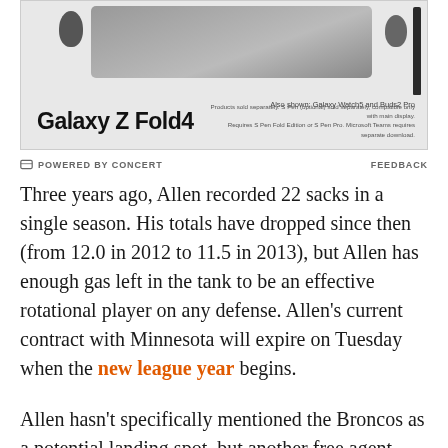[Figure (photo): Samsung Galaxy Z Fold4 advertisement showing the phone, earbuds, smartwatch, and S Pen accessories]
POWERED BY CONCERT   FEEDBACK
Three years ago, Allen recorded 22 sacks in a single season. His totals have dropped since then (from 12.0 in 2012 to 11.5 in 2013), but Allen has enough gas left in the tank to be an effective rotational player on any defense. Allen's current contract with Minnesota will expire on Tuesday when the new league year begins.
Allen hasn't specifically mentioned the Broncos as a potential landing spot, but another free agent defender, safety Jairus Byrd, has. Drafted by the Buffalo Bills in the second round of the 2009 NFL draft, Byrd is about to hit free agency after earning three Pro Bowl berths in his first five seasons with Buffalo. Earlier this week,